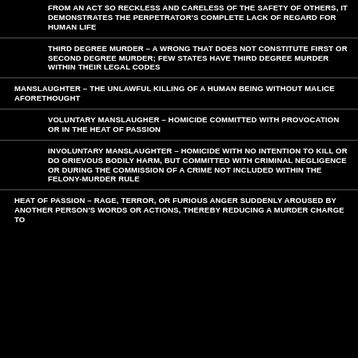FROM AN ACT SO RECKLESS AND CARELESS OF THE SAFETY OF OTHERS, IT DEMONSTRATES THE PERPETRATOR'S COMPLETE LACK OF REGARD FOR HUMAN LIFE
THIRD DEGREE MURDER – A WRONG THAT DOES NOT CONSTITUTE FIRST OR SECOND DEGREE MURDER; FEW STATES HAVE THIRD DEGREE MURDER WITHIN THEIR LEGAL CODES
MANSLAUGHTER – THE UNLAWFUL KILLING OF A HUMAN BEING WITHOUT MALICE AFORETHOUGHT
VOLUNTARY MANSLAUGHER – HOMICIDE COMMITTED WITH PROVOCATION OR IN THE HEAT OF PASSION
INVOLUNTARY MANSLAUGHTER – HOMICIDE WITH NO INTENTION TO KILL OR DO GRIEVOUS BODILY HARM, BUT COMMITTED WITH CRIMINAL NEGLIGENCE OR DURING THE COMMISSION OF A CRIME NOT INCLUDED WITHIN THE FELONY-MURDER RULE
HEAT OF PASSION – RAGE, TERROR, OR FURIOUS ANGER SUDDENLY AROUSED BY ANOTHER PERSON'S WORDS OR ACTIONS, THEREBY REDUCING A MURDER CHARGE TO